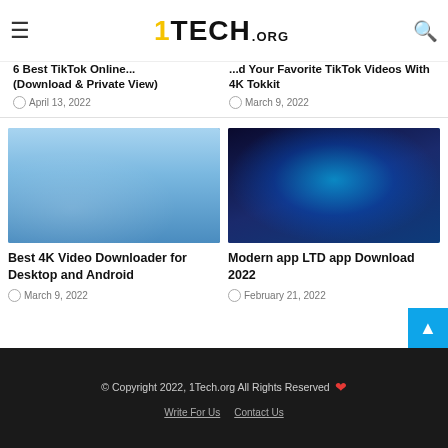1TECH.ORG
6 Best TikTok Online... (Download & Private View)
April 13, 2022
...d Your Favorite TikTok Videos With 4K Tokkit
March 9, 2022
[Figure (photo): Students gathered around a laptop outdoors]
Best 4K Video Downloader for Desktop and Android
March 9, 2022
[Figure (photo): Digital technology concept with glowing tablet and app icons]
Modern app LTD app Download 2022
February 21, 2022
© Copyright 2022, 1Tech.org All Rights Reserved
Write For Us   Contact Us